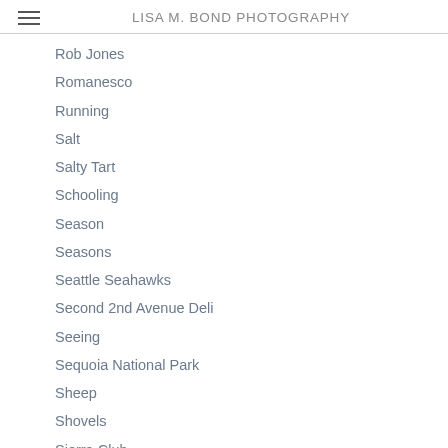LISA M. BOND PHOTOGRAPHY
Rob Jones
Romanesco
Running
Salt
Salty Tart
Schooling
Season
Seasons
Seattle Seahawks
Second 2nd Avenue Deli
Seeing
Sequoia National Park
Sheep
Shovels
Sierra Club
Sierra Club Engagement Calendar
Singh-Ray
Skyline
Slowing Down